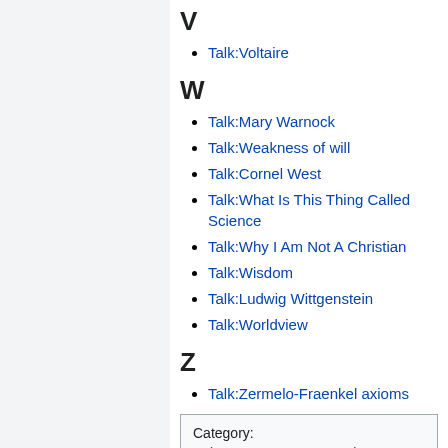V
Talk:Voltaire
W
Talk:Mary Warnock
Talk:Weakness of will
Talk:Cornel West
Talk:What Is This Thing Called Science
Talk:Why I Am Not A Christian
Talk:Wisdom
Talk:Ludwig Wittgenstein
Talk:Worldview
Z
Talk:Zermelo-Fraenkel axioms
Category: Subpages Status Categories
Hidden category: Philosophy tag